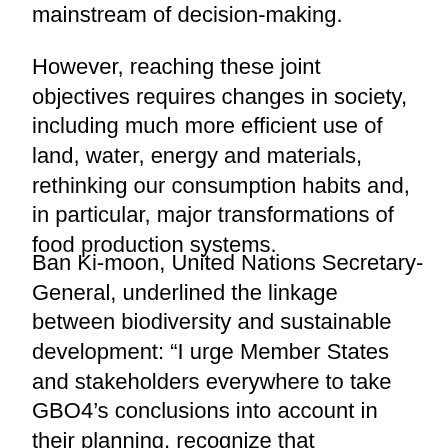mainstream of decision-making.
However, reaching these joint objectives requires changes in society, including much more efficient use of land, water, energy and materials, rethinking our consumption habits and, in particular, major transformations of food production systems.
Ban Ki-moon, United Nations Secretary-General, underlined the linkage between biodiversity and sustainable development: “I urge Member States and stakeholders everywhere to take GBO4’s conclusions into account in their planning, recognize that biodiversity contributes to solving the sustainable development challenges we face, and redouble efforts to achieve our shared goals,” he said.